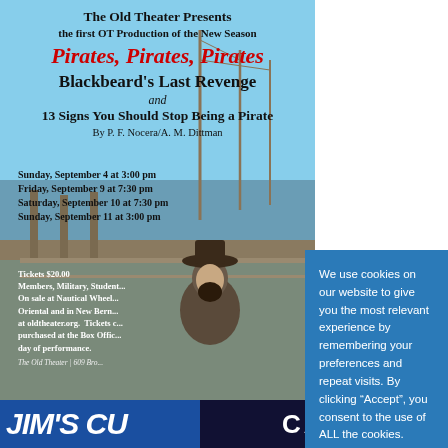[Figure (photo): Theater poster for 'Pirates, Pirates, Pirates' with waterfront/harbor background and pirate figure, overlaid by a cookie consent dialog. Below: partial banner for Jim's CU and CAPS.]
The Old Theater Presents
the first OT Production of the New Season
Pirates, Pirates, Pirates
Blackbeard's Last Revenge
and
13 Signs You Should Stop Being a Pirate
By P. F. Nocera/A. M. Dittman
Sunday, September 4 at 3:00 pm
Friday, September 9 at 7:30 pm
Saturday, September 10 at 7:30 pm
Sunday, September 11 at 3:00 pm
Tickets $20.00
Members, Military, Student...
On sale at Nautical Wheel...
Oriental and in New Bern...
at oldtheater.org.  Tickets c...
purchased at the Box Offic...
day of performance.
The Old Theater | 609 Bro...
We use cookies on our website to give you the most relevant experience by remembering your preferences and repeat visits. By clicking “Accept”, you consent to the use of ALL the cookies.
Do not sell my personal information.
Cookie Settings
Accept
JIM'S CU
CAPS